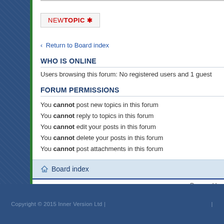[Figure (screenshot): NEW TOPIC button with asterisk]
Return to Board index
WHO IS ONLINE
Users browsing this forum: No registered users and 1 guest
FORUM PERMISSIONS
You cannot post new topics in this forum
You cannot reply to topics in this forum
You cannot edit your posts in this forum
You cannot delete your posts in this forum
You cannot post attachments in this forum
Board index
Powered by phpBB®
Copyright © 2015 Inner Version Ltd |